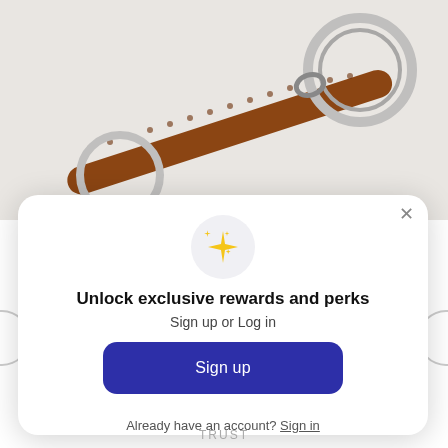[Figure (photo): Photo of a brown leather keychain with metal rings, on a light grey background]
Unlock exclusive rewards and perks
Sign up or Log in
Sign up
Already have an account? Sign in
TRUST